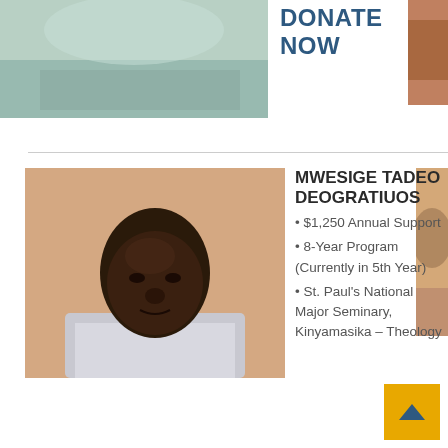[Figure (photo): Partial photo at top of page, cropped, showing clothing/background in green-teal tones]
DONATE NOW
[Figure (photo): Partial photo at top right, cropped, showing skin tones]
[Figure (photo): Portrait photo of Mwesige Tadeo Deogratius, a man in a light gray polo shirt with navy collar, against a peach/tan background]
MWESIGE TADEO DEOGRATIUOS • $1,250 Annual Support • 8-Year Program (Currently in 5th Year) • St. Paul's National Major Seminary, Kinyamasika – Theology
[Figure (photo): Partial photo at right edge, showing another person, partially visible]